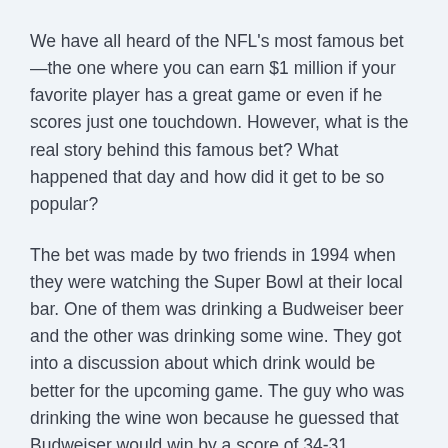We have all heard of the NFL's most famous bet—the one where you can earn $1 million if your favorite player has a great game or even if he scores just one touchdown. However, what is the real story behind this famous bet? What happened that day and how did it get to be so popular?
The bet was made by two friends in 1994 when they were watching the Super Bowl at their local bar. One of them was drinking a Budweiser beer and the other was drinking some wine. They got into a discussion about which drink would be better for the upcoming game. The guy who was drinking the wine won because he guessed that Budweiser would win by a score of 34-31.